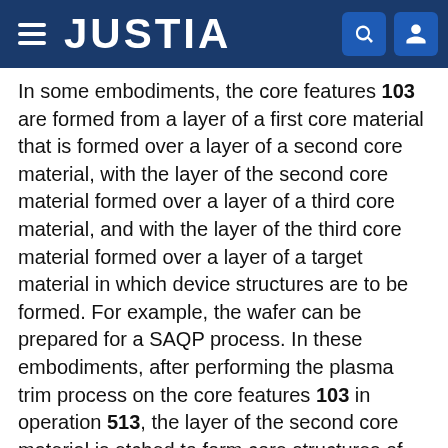JUSTIA
In some embodiments, the core features 103 are formed from a layer of a first core material that is formed over a layer of a second core material, with the layer of the second core material formed over a layer of a third core material, and with the layer of the third core material formed over a layer of a target material in which device structures are to be formed. For example, the wafer can be prepared for a SAQP process. In these embodiments, after performing the plasma trim process on the core features 103 in operation 513, the layer of the second core material is etched to form core structures of the second core material beneath the modified pattern of the core features 103. Then, the core features 103 are removed. After the core features 103 are removed, a layer of a first mask material is conformally deposited over the core structures of the second core material. Then, the first mask material is etched to form side-